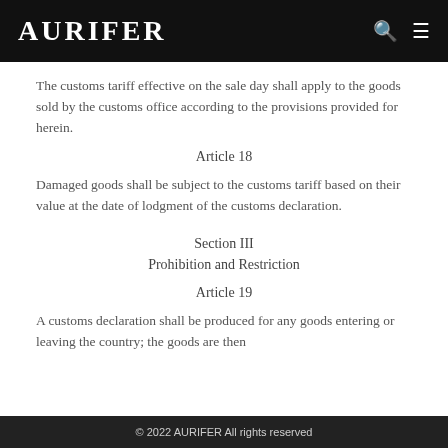AURIFER
The customs tariff effective on the sale day shall apply to the goods sold by the customs office according to the provisions provided for herein.
Article 18
Damaged goods shall be subject to the customs tariff based on their value at the date of lodgment of the customs declaration.
Section III
Prohibition and Restriction
Article 19
A customs declaration shall be produced for any goods entering or leaving the country; the goods are then subject to the customs conditions at the...
© 2022 AURIFER All rights reserved